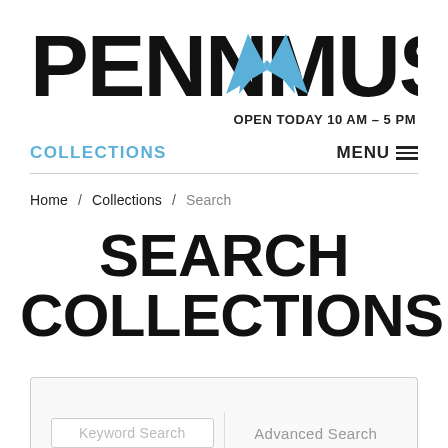[Figure (logo): Penn Museum logo with stylized 'M' in blue between black 'PENN' and 'MUSEUM' text]
OPEN TODAY 10 AM – 5 PM
COLLECTIONS
MENU
Home / Collections / Search
SEARCH COLLECTIONS
Keyword Search
Advanced Search